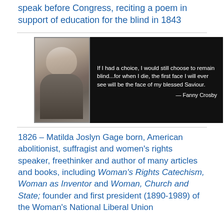speak before Congress, reciting a poem in support of education for the blind in 1843
[Figure (photo): Black and white photo of Fanny Crosby alongside a quote: 'If I had a choice, I would still choose to remain blind...for when I die, the first face I will ever see will be the face of my blessed Saviour. — Fanny Crosby']
1826 – Matilda Joslyn Gage born, American abolitionist, suffragist and women's rights speaker, freethinker and author of many articles and books, including Woman's Rights Catechism, Woman as Inventor and Woman, Church and State; founder and first president (1890-1989) of the Woman's National Liberal Union